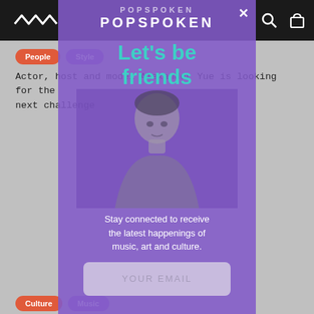POPSPOKEN navigation bar with logo and icons
People
Style
Actor, host and model Alexander Yue is looking for the next challenge
[Figure (screenshot): Modal popup overlay on a purple/violet background featuring the Popspoken logo, 'Let's be friends' heading in teal, a grayscale photo of a person, newsletter signup text, and an email input field]
Culture
Music